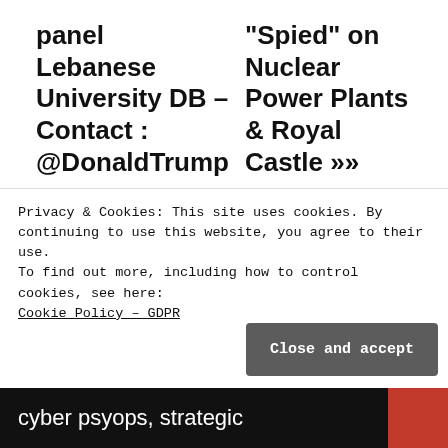panel Lebanese University DB – Contact : @DonaldTrump   "Spied" on Nuclear Power Plants & Royal Castle »»
[Figure (logo): Treadstone 71 circular logo with blue background and white figure icon]
By Treadstone 71
@Treadstone71LLC Cyber intelligence, counterintelligence, Influence cyber psyops, strategic
Privacy & Cookies: This site uses cookies. By continuing to use this website, you agree to their use.
To find out more, including how to control cookies, see here:
Cookie Policy – GDPR
Close and accept
cyber psyops, strategic